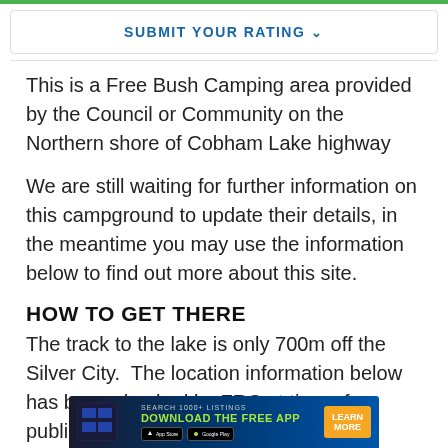SUBMIT YOUR RATING
This is a Free Bush Camping area provided by the Council or Community on the Northern shore of Cobham Lake highway
We are still waiting for further information on this campground to update their details, in the meantime you may use the information below to find out more about this site.
HOW TO GET THERE
The track to the lake is only 700m off the Silver City.  The location information below has been checked by FRC at time of publication as far as possible and
[Figure (screenshot): Advertisement banner at bottom of page: dark blue background with 'SEARCH 1000+ LISTINGS' text, 'DOWNLOAD THE FREE APP' in green/yellow, app store buttons, and 'LEARN MORE' orange button]